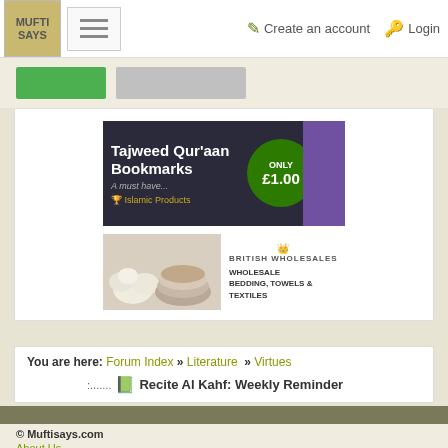MUFTI SAYS | Create an account | Login
[Figure (screenshot): Navigation bar with Mufti Says logo, hamburger menu, Create an account and Login links]
[Figure (infographic): Tajweed Qur'an Bookmarks advertisement - A must have... Islamic Products, ONLY £1.00]
[Figure (photo): British Wholesales - Wholesale Bedding, Towels & Textiles advertisement with cotton and fabric image]
You are here: Forum Index » Literature » Virtues
Recite Al Kahf: Weekly Reminder
© Muftisays.com
About Us
Disclaimer